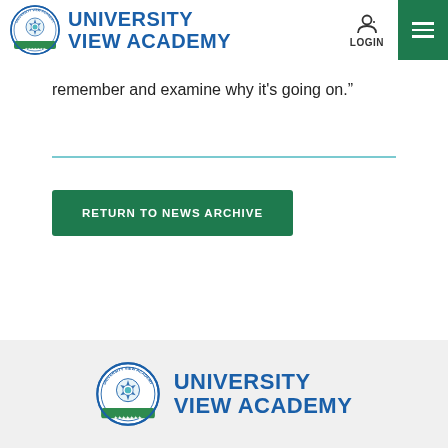University View Academy — navigation header with logo, LOGIN button, and menu
remember and examine why it’s going on.”
[Figure (other): Horizontal teal/cyan divider line]
RETURN TO NEWS ARCHIVE
University View Academy footer logo